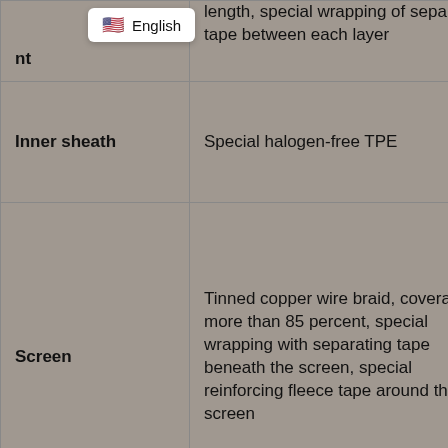| Component | Description |
| --- | --- |
| [partial]nt | length, special wrapping of separating tape between each layer |
| Inner sheath | Special halogen-free TPE |
| Screen | Tinned copper wire braid, coverage more than 85 percent, special wrapping with separating tape beneath the screen, special reinforcing fleece tape around the screen |